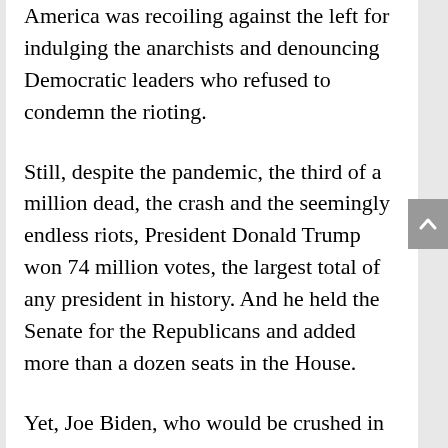America was recoiling against the left for indulging the anarchists and denouncing Democratic leaders who refused to condemn the rioting.
Still, despite the pandemic, the third of a million dead, the crash and the seemingly endless riots, President Donald Trump won 74 million votes, the largest total of any president in history. And he held the Senate for the Republicans and added more than a dozen seats in the House.
Yet, Joe Biden, who would be crushed in the Iowa caucuses and New Hampshire